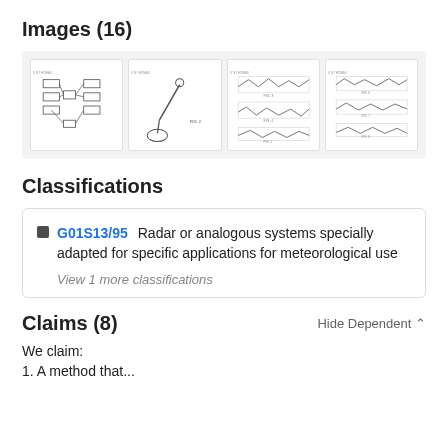Images (16)
[Figure (schematic): Gallery of 4 patent drawing thumbnails showing block diagrams, radar antenna diagram, and waveform charts]
Classifications
G01S13/95  Radar or analogous systems specially adapted for specific applications for meteorological use
View 1 more classifications
Claims (8)
Hide Dependent
We claim:
1. A method that...